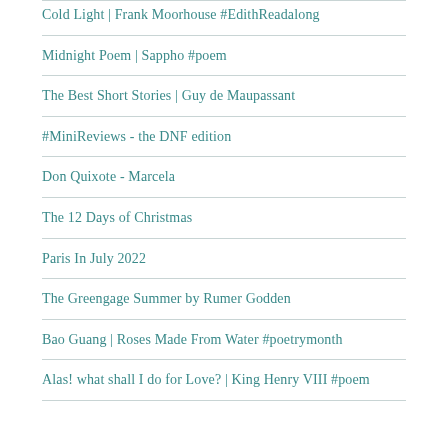Cold Light | Frank Moorhouse #EdithReadalong
Midnight Poem | Sappho #poem
The Best Short Stories | Guy de Maupassant
#MiniReviews - the DNF edition
Don Quixote - Marcela
The 12 Days of Christmas
Paris In July 2022
The Greengage Summer by Rumer Godden
Bao Guang | Roses Made From Water #poetrymonth
Alas! what shall I do for Love? | King Henry VIII #poem